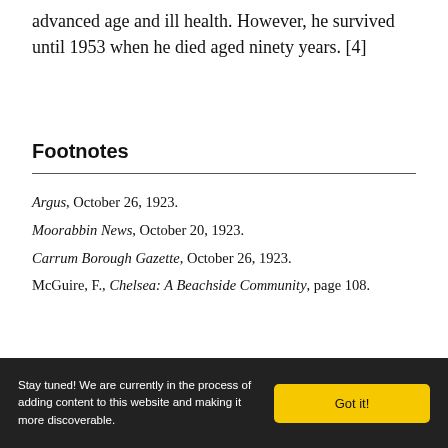advanced age and ill health. However, he survived until 1953 when he died aged ninety years. [4]
Footnotes
Argus, October 26, 1923.
Moorabbin News, October 20, 1923.
Carrum Borough Gazette, October 26, 1923.
McGuire, F., Chelsea: A Beachside Community, page 108.
Stay tuned! We are currently in the process of adding content to this website and making it more discoverable.